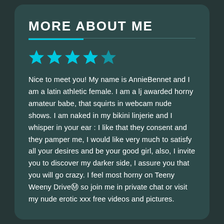MORE ABOUT ME
[Figure (illustration): Five cyan star rating icons in a row]
Nice to meet you! My name is AnnieBennet and I am a latin athletic female. I am a lj awarded horny amateur babe, that squirts in webcam nude shows. I am naked in my bikini linjerie and I whisper in your ear : I like that they consent and they pamper me, I would like very much to satisfy all your desires and be your good girl, also, I invite you to discover my darker side, I assure you that you will go crazy. I feel most horny on Teeny Weeny DriveⓂ so join me in private chat or visit my nude erotic xxx free videos and pictures.